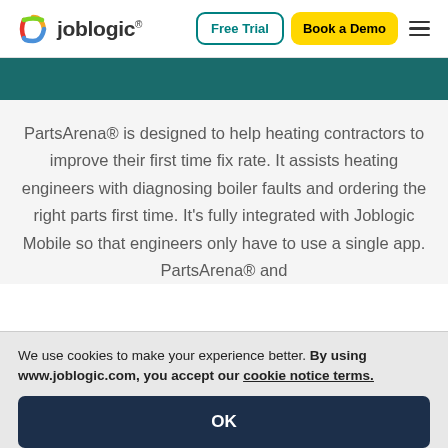[Figure (logo): Joblogic logo with icon and wordmark]
Free Trial | Book a Demo
[Figure (other): Teal/dark green horizontal banner strip]
PartsArena® is designed to help heating contractors to improve their first time fix rate. It assists heating engineers with diagnosing boiler faults and ordering the right parts first time. It's fully integrated with Joblogic Mobile so that engineers only have to use a single app. PartsArena® and
We use cookies to make your experience better. By using www.joblogic.com, you accept our cookie notice terms.
OK